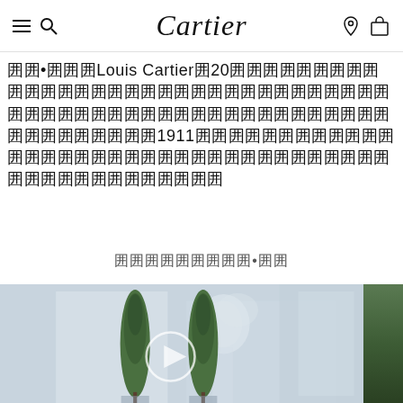Cartier navigation bar with menu, search, logo, location and bag icons
囲•囲囲Louis Cartier囲20囲囲囲囲囲囲囲囲囲囲囲囲囲囲囲囲囲囲囲囲囲囲囲囲囲囲囲囲囲囲囲囲囲囲囲囲囲囲囲囲囲囲1911囲囲囲囲囲囲囲囲囲囲囲囲囲囲囲囲囲囲囲囲囲囲囲囲囲囲囲囲囲囲
囲囲囲囲囲囲囲囲囲•囲囲
[Figure (photo): A video thumbnail showing a woman with blonde hair in profile, two tall cypress trees in the foreground, with a light blue/grey toned background. A play button is overlaid in the center. A dark green/brown image is partially visible on the right edge.]